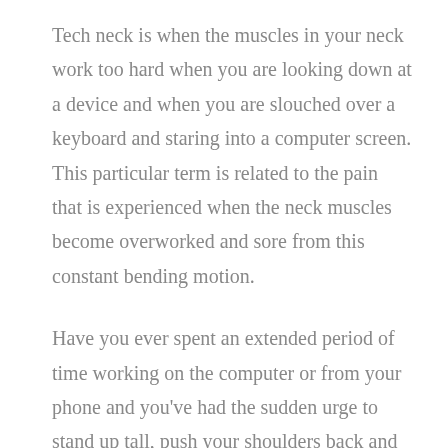Tech neck is when the muscles in your neck work too hard when you are looking down at a device and when you are slouched over a keyboard and staring into a computer screen. This particular term is related to the pain that is experienced when the neck muscles become overworked and sore from this constant bending motion.
Have you ever spent an extended period of time working on the computer or from your phone and you've had the sudden urge to stand up tall, push your shoulders back and